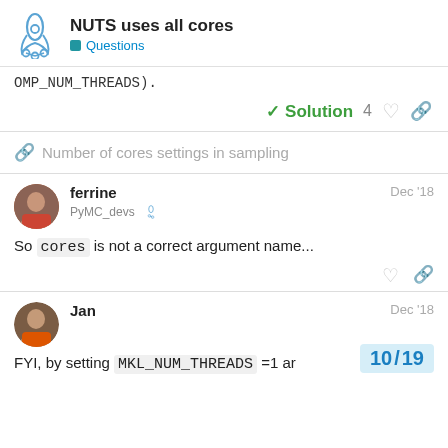NUTS uses all cores — Questions
OMP_NUM_THREADS).
✓ Solution  4
Number of cores settings in sampling
ferrine  PyMC_devs  Dec '18
So cores is not a correct argument name...
Jan  Dec '18
FYI, by setting MKL_NUM_THREADS =1 ar
10 / 19